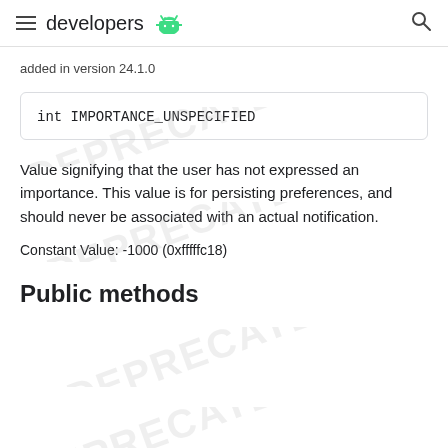developers
added in version 24.1.0
int IMPORTANCE_UNSPECIFIED
Value signifying that the user has not expressed an importance. This value is for persisting preferences, and should never be associated with an actual notification.
Constant Value: -1000 (0xfffffc18)
Public methods